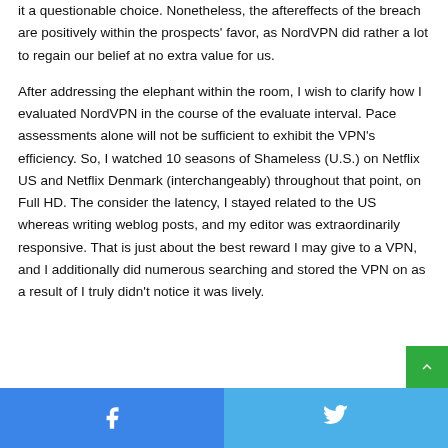it a questionable choice. Nonetheless, the aftereffects of the breach are positively within the prospects' favor, as NordVPN did rather a lot to regain our belief at no extra value for us.
After addressing the elephant within the room, I wish to clarify how I evaluated NordVPN in the course of the evaluate interval. Pace assessments alone will not be sufficient to exhibit the VPN's efficiency. So, I watched 10 seasons of Shameless (U.S.) on Netflix US and Netflix Denmark (interchangeably) throughout that point, on Full HD. The consider the latency, I stayed related to the US whereas writing weblog posts, and my editor was extraordinarily responsive. That is just about the best reward I may give to a VPN, and I additionally did numerous searching and stored the VPN on as a result of I truly didn't notice it was lively.
Facebook | Twitter